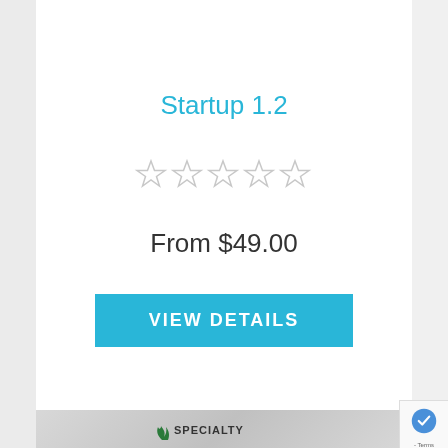Startup 1.2
☆ ☆ ☆ ☆ ☆
From $49.00
VIEW DETAILS
[Figure (logo): Specialty brand logo with stylized flame icon and text 'SPECIALTY']